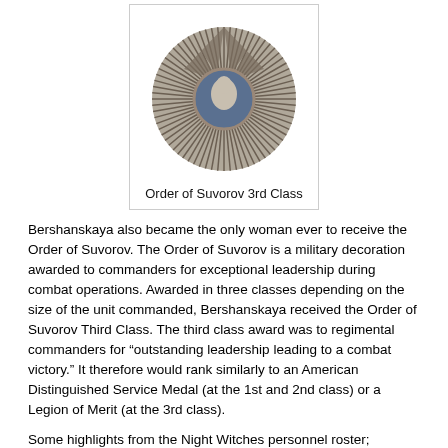[Figure (photo): Photograph of the Order of Suvorov 3rd Class military decoration — a silver starburst medal with a profile portrait in the center.]
Order of Suvorov 3rd Class
Bershanskaya also became the only woman ever to receive the Order of Suvorov. The Order of Suvorov is a military decoration awarded to commanders for exceptional leadership during combat operations. Awarded in three classes depending on the size of the unit commanded, Bershanskaya received the Order of Suvorov Third Class. The third class award was to regimental commanders for "outstanding leadership leading to a combat victory." It therefore would rank similarly to an American Distinguished Service Medal (at the 1st and 2nd class) or a Legion of Merit (at the 3rd class).
Some highlights from the Night Witches personnel roster;
Senior Lieutenant Irina Sebrova flew more than 1,000 combat sorties, more than any other female pilot. She received Hero of the Soviet Union (co-awarded with the Order of Lenin, which was the practice at the time), three Orders of the Red Banner, the Order of the Patriotic War (for